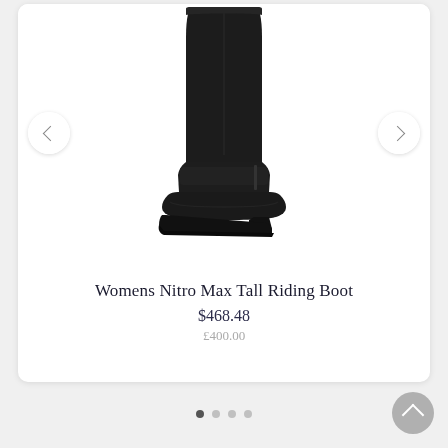[Figure (photo): A tall black leather riding boot (Womens Nitro Max Tall Riding Boot) shown against a white background. The boot extends from a low heel up to knee height, with smooth black leather upper and a side zipper detail near the ankle.]
Womens Nitro Max Tall Riding Boot
$468.48
£400.00